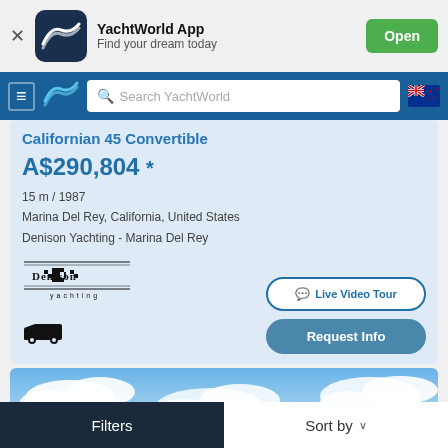[Figure (screenshot): YachtWorld App banner with logo, app name, tagline, and Open button]
[Figure (screenshot): YachtWorld navigation bar with hamburger menu, logo, search bar, and NZ flag]
Californian 45 Convertible
A$290,804 *
15 m / 1987
Marina Del Rey, California, United States
Denison Yachting - Marina Del Rey
[Figure (logo): Denison Yachting logo]
[Figure (illustration): Shipping/transport icon]
Live Video Tour
Request Info
[Figure (photo): Photo of boat listing showing blue sky and clouds]
Filters    Sort by